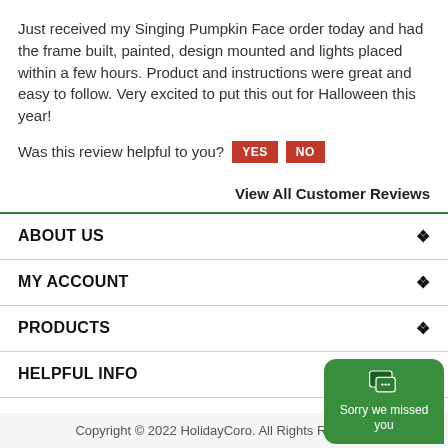Just received my Singing Pumpkin Face order today and had the frame built, painted, design mounted and lights placed within a few hours. Product and instructions were great and easy to follow. Very excited to put this out for Halloween this year!
Was this review helpful to you? YES NO
View All Customer Reviews
ABOUT US
MY ACCOUNT
PRODUCTS
HELPFUL INFO
Copyright © 2022 HolidayCoro. All Rights Reserved